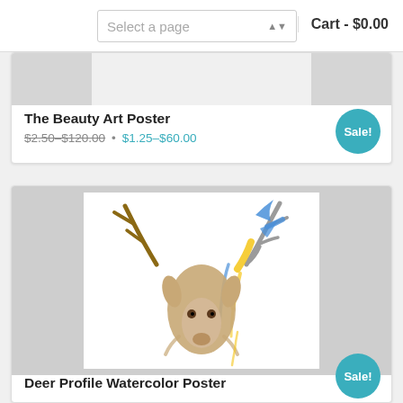Select a page   Cart - $0.00
[Figure (screenshot): Partially visible product image for The Beauty Art Poster]
The Beauty Art Poster
$2.50–$120.00 • $1.25–$60.00 Sale!
[Figure (illustration): Watercolor illustration of a deer/stag head with colorful blue and yellow paint drips on antlers]
Deer Profile Watercolor Poster